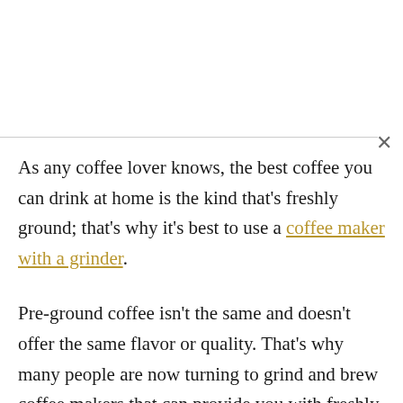As any coffee lover knows, the best coffee you can drink at home is the kind that's freshly ground; that's why it's best to use a coffee maker with a grinder.
Pre-ground coffee isn't the same and doesn't offer the same flavor or quality. That's why many people are now turning to grind and brew coffee makers that can provide you with freshly ground coffee in a convenient and easy-to-use way.